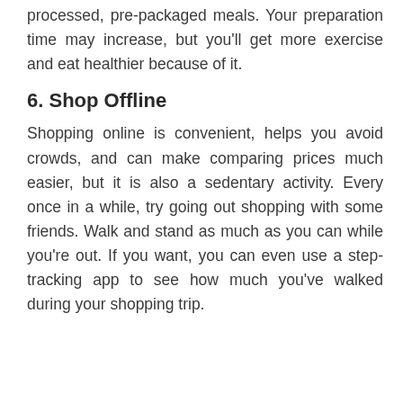processed, pre-packaged meals. Your preparation time may increase, but you'll get more exercise and eat healthier because of it.
6. Shop Offline
Shopping online is convenient, helps you avoid crowds, and can make comparing prices much easier, but it is also a sedentary activity. Every once in a while, try going out shopping with some friends. Walk and stand as much as you can while you're out. If you want, you can even use a step-tracking app to see how much you've walked during your shopping trip.